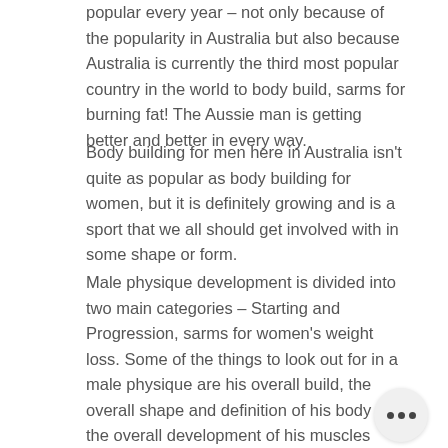popular every year – not only because of the popularity in Australia but also because Australia is currently the third most popular country in the world to body build, sarms for burning fat! The Aussie man is getting better and better in every way.
Body building for men here in Australia isn't quite as popular as body building for women, but it is definitely growing and is a sport that we all should get involved with in some shape or form.
Male physique development is divided into two main categories – Starting and Progression, sarms for women's weight loss. Some of the things to look out for in a male physique are his overall build, the overall shape and definition of his body and the overall development of his muscles over the course of a year.